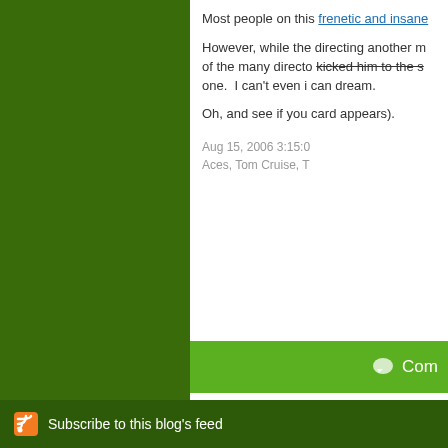Most people on this frenetic and insane
However, while the directing another m of the many directo kicked him to the s one. I can't even i can dream.
Oh, and see if you card appears).
Aug 15, 2006 3:15:0 Aces, Tom Cruise, T
Com
Subscribe to this blog's feed